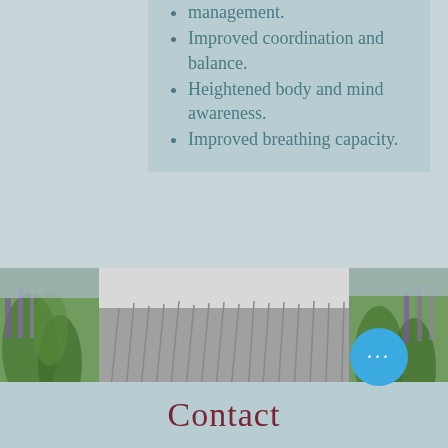management.
Improved coordination and balance.
Heightened body and mind awareness.
Improved breathing capacity.
[Figure (photo): Three-panel photo strip showing outdoor yoga/pilates session. Left and right panels show garden with colorful flowers (color photos, partially visible). Center panel is black-and-white photo of a person in dark clothing performing a low plank/cobra yoga pose on a mat, with ornamental grasses and garden in background.]
Contact